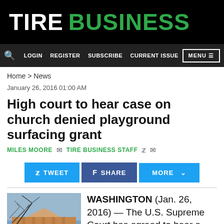Tire Business
LOGIN   REGISTER   SUBSCRIBE   CURRENT ISSUE   MENU
Home > News
January 26, 2016 01:00 AM
High court to hear case on church denied playground surfacing grant
MILES MOORE   [email]   TIRE BUSINESS STAFF   [twitter]   [email]
[Figure (other): Social share buttons: TWEET, SHARE, MORE]
[Figure (photo): Photo of a building with bare tree branches against blue sky, appears to be the U.S. Supreme Court building]
WASHINGTON (Jan. 26, 2016) — The U.S. Supreme Court has agreed to hear a Columbia, Mo., parochial school's appeal involvin...